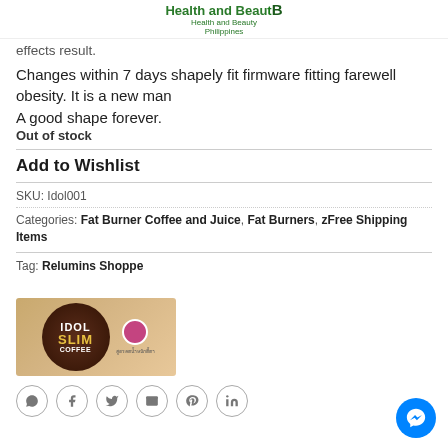Health and Beauty Philippines
effects result.
Changes within 7 days shapely fit firmware fitting farewell obesity. It is a new man
A good shape forever.
Out of stock
Add to Wishlist
SKU: Idol001
Categories: Fat Burner Coffee and Juice, Fat Burners, zFree Shipping Items
Tag: Relumins Shoppe
[Figure (photo): Idol Slim Coffee product image showing a brown circle logo with IDOL SLIM COFFEE text and a pink circular badge on a tan background]
[Figure (other): Social share icons: WhatsApp, Facebook, Twitter, Email, Pinterest, LinkedIn]